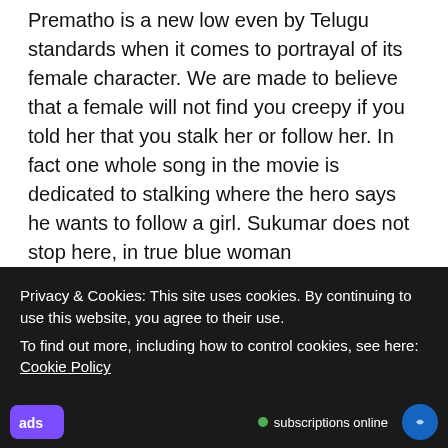Prematho is a new low even by Telugu standards when it comes to portrayal of its female character. We are made to believe that a female will not find you creepy if you told her that you stalk her or follow her. In fact one whole song in the movie is dedicated to stalking where the hero says he wants to follow a girl. Sukumar does not stop here, in true blue woman empowerment mode he shows that if you rescue a girl from sexual harassment, the girl will fall in love with you, even if you are a stalker. In fact the father of the girl, Krishnamurthy (Jagapathi Babu) is supercool about her having been a victim of sexual harassment. He asks her how was her day and she replies
Privacy & Cookies: This site uses cookies. By continuing to use this website, you agree to their use.
To find out more, including how to control cookies, see here: Cookie Policy
Close and accept